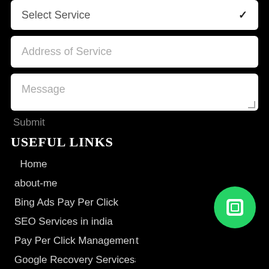Select Service
Address of Service
Message
Submit
USEFUL LINKS
Home
about-me
Bing Ads Pay Per Click
SEO Services in india
Pay Per Click Management
Google Recovery Services
Enterprise SEO
[Figure (illustration): WhatsApp contact button (green circle with phone/chat icon)]